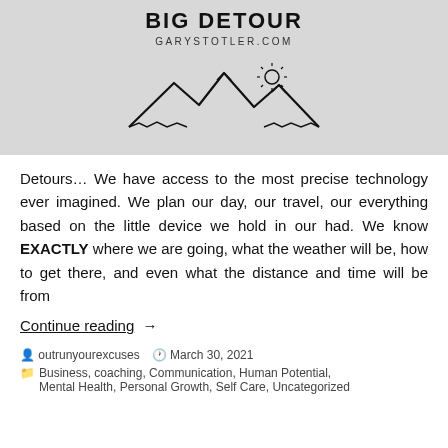[Figure (illustration): Blog header banner with dark bold text 'BIG DETOUR' and 'GARYSTOTLER.COM' on a light gray background, with a mountain and sun line-art illustration below the text.]
Detours… We have access to the most precise technology ever imagined. We plan our day, our travel, our everything based on the little device we hold in our had. We know EXACTLY where we are going, what the weather will be, how to get there, and even what the distance and time will be from
Continue reading →
outrunyourexcuses   March 30, 2021
Business, coaching, Communication, Human Potential, Mental Health, Personal Growth, Self Care, Uncategorized